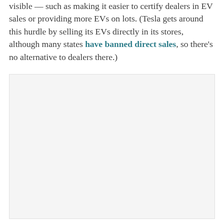visible — such as making it easier to certify dealers in EV sales or providing more EVs on lots. (Tesla gets around this hurdle by selling its EVs directly in its stores, although many states have banned direct sales, so there's no alternative to dealers there.)
[Figure (photo): Large image placeholder occupying the lower portion of the page, light gray background.]